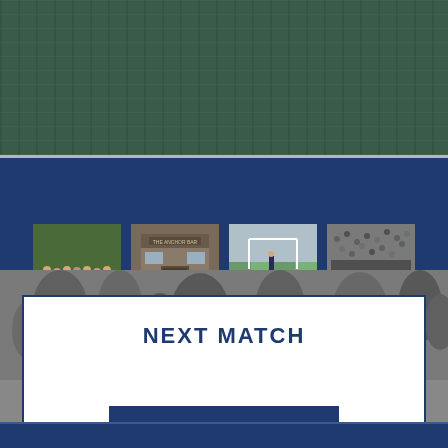[Figure (photo): Green football/rugby pitch turf background at top of page]
[Figure (photo): Blue gallery section with four photo thumbnails: team group photo, building/ticket office, football pitch scene, and 'The Auld Game' book/poster image]
[Figure (photo): Greyscale crowd background behind the Next Match box]
NEXT MATCH
VIEW ALL FIXTURES